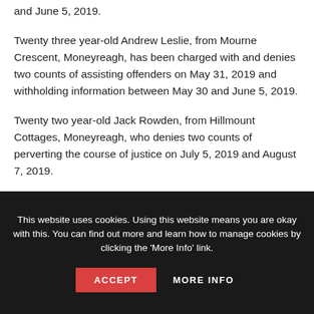and June 5, 2019.
Twenty three year-old Andrew Leslie, from Mourne Crescent, Moneyreagh, has been charged with and denies two counts of assisting offenders on May 31, 2019 and withholding information between May 30 and June 5, 2019.
Twenty two year-old Jack Rowden, from Hillmount Cottages, Moneyreagh, who denies two counts of perverting the course of justice on July 5, 2019 and August 7, 2019.
This website uses cookies. Using this website means you are okay with this. You can find out more and learn how to manage cookies by clicking the 'More Info' link.